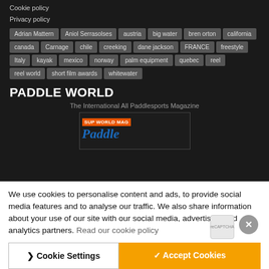Cookie policy
Privacy policy
Adrian Mattern
Aniol Serrasolses
austria
big water
bren orton
california
canada
Carnage
chile
creeking
dane jackson
FRANCE
freestyle
Italy
kayak
mexico
norway
palm equipment
quebec
reel
reel world
short film awards
whitewater
PADDLE WORLD
The International All Paddlesports Magazine
[Figure (logo): SUP World Mag and Paddle magazine cover logos]
We use cookies to personalise content and ads, to provide social media features and to analyse our traffic. We also share information about your use of our site with our social media, advertising and analytics partners. Read our cookie policy
❯ Cookie Settings
✓ Accept Cookies